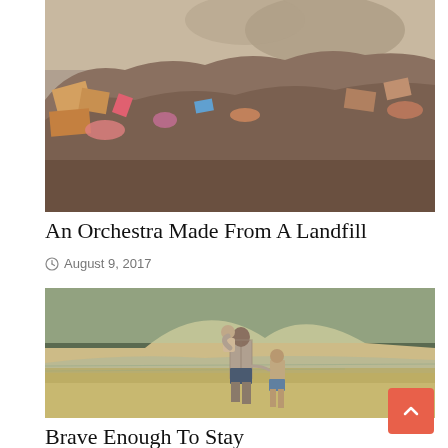[Figure (photo): A large landfill or garbage dump showing piles of trash, cardboard boxes, and various debris under a hazy sky.]
An Orchestra Made From A Landfill
August 9, 2017
[Figure (photo): A man holding a young child on his shoulder while holding the hand of another child, standing on a sandy beach with mountains or hills visible in the background. The image has a vintage, aged appearance.]
Brave Enough To Stay